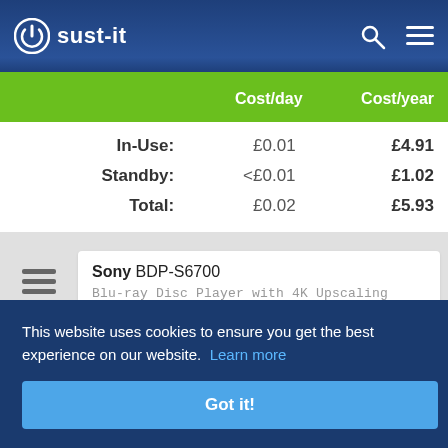sust-it
|  | Cost/day | Cost/year |
| --- | --- | --- |
| In-Use: | £0.01 | £4.91 |
| Standby: | <£0.01 | £1.02 |
| Total: | £0.02 | £5.93 |
Sony BDP-S6700
Blu-ray Disc Player with 4K Upscaling
This website uses cookies to ensure you get the best experience on our website. Learn more
Got it!